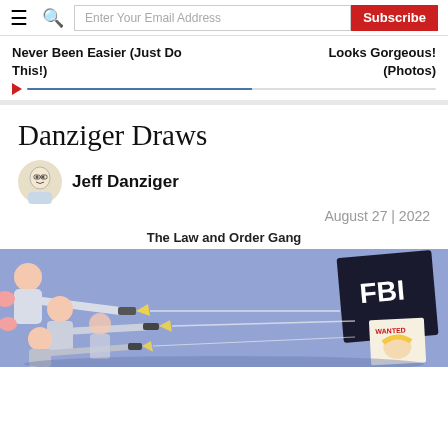Navigation bar with hamburger menu, search icon, email subscription field, and Subscribe button
Never Been Easier (Just Do This!)
Looks Gorgeous! (Photos)
Danziger Draws
Jeff Danziger
August 27 | 2022
The Law and Order Gang
[Figure (illustration): Political cartoon showing multiple figures shooting guns at an FBI target/sign. The scene has a blue-purple background with a 'WANTED' poster visible. The cartoon is titled 'The Law and Order Gang' by Jeff Danziger.]